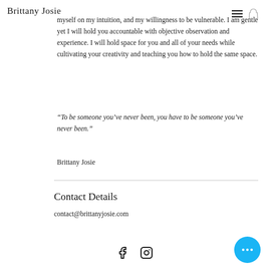Brittany Josie
myself on my intuition, and my willingness to be vulnerable. I am gentle yet I will hold you accountable with objective observation and experience. I will hold space for you and all of your needs while cultivating your creativity and teaching you how to hold the same space.
“To be someone you’ve never been, you have to be someone you’ve never been.”
Brittany Josie
Contact Details
contact@brittanyjosie.com
[Figure (other): Social media icons: Facebook and Instagram logos at bottom center of page]
[Figure (other): Cyan/blue circular button with three white dots (more options button) at bottom right]